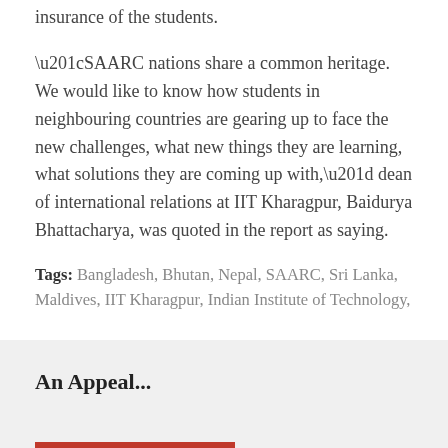insurance of the students.
“SAARC nations share a common heritage. We would like to know how students in neighbouring countries are gearing up to face the new challenges, what new things they are learning, what solutions they are coming up with,” dean of international relations at IIT Kharagpur, Baidurya Bhattacharya, was quoted in the report as saying.
Tags: Bangladesh, Bhutan, Nepal, SAARC, Sri Lanka, Maldives, IIT Kharagpur, Indian Institute of Technology,
An Appeal...